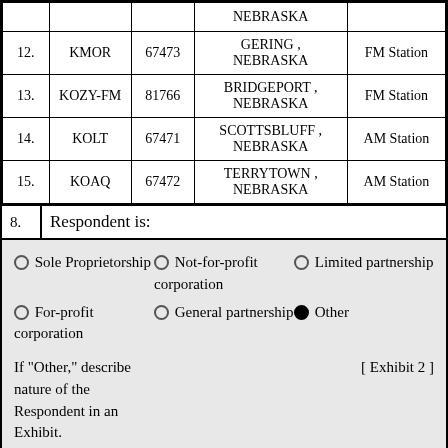| # | Call Sign | Facility ID | Location | Type |
| --- | --- | --- | --- | --- |
|  |  |  | NEBRASKA |  |
| 12. | KMOR | 67473 | GERING , NEBRASKA | FM Station |
| 13. | KOZY-FM | 81766 | BRIDGEPORT , NEBRASKA | FM Station |
| 14. | KOLT | 67471 | SCOTTSBLUFF , NEBRASKA | AM Station |
| 15. | KOAQ | 67472 | TERRYTOWN , NEBRASKA | AM Station |
8. Respondent is:
Sole Proprietorship | Not-for-profit corporation | Limited partnership | For-profit corporation | General partnership | Other (selected) | If "Other," describe nature of the Respondent in an Exhibit. | [ Exhibit 2 ]
Section II-B - Biennial Ownership Information